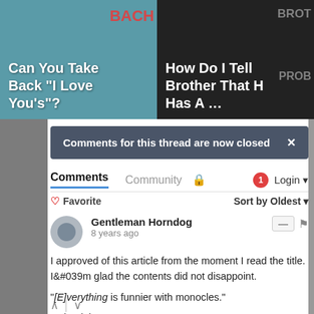[Figure (photo): Two article thumbnail images side by side. Left: teal/blue background with white bold text 'Can You Take Back "I Love You\'s"?' and red watermark 'BACK'. Right: dark background with white bold text 'How Do I Tell My Brother That He Has A ...' and gray watermarks 'BROT' and 'PROB'.]
Comments for this thread are now closed
Comments
Community
Login
♡ Favorite
Sort by Oldest
Gentleman Horndog
8 years ago
I approved of this article from the moment I read the title. I&#039m glad the contents did not disappoint.

"[E]verything is funnier with monocles."

Quite right.